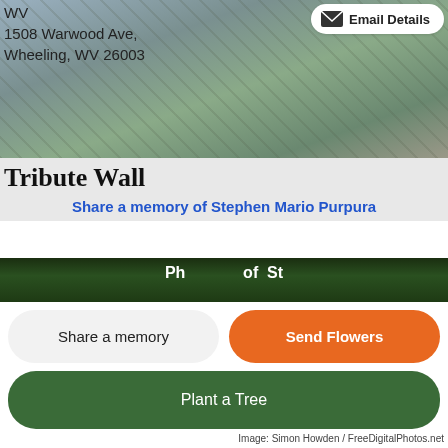[Figure (photo): Background photo of people/winter scene, partially visible, faded]
WV
1508 Warwood Ave,
Wheeling, WV 26003
Email Details
Image: Simon Howden / FreeDigitalPhotos.net
Tribute Wall
Share a memory of Stephen Mario Purpura
[Figure (photo): Forest/trees photo banner, partially cropped]
Share a memory
Send Flowers
Plant a Tree